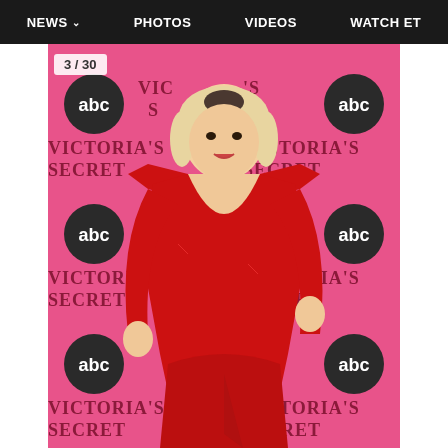NEWS   PHOTOS   VIDEOS   WATCH ET
[Figure (photo): Woman in red long-sleeve deep V-neck dress with padded shoulders posing on a Victoria's Secret / ABC pink step-and-repeat backdrop. She has blonde bob hair. Counter badge reads 3 / 30.]